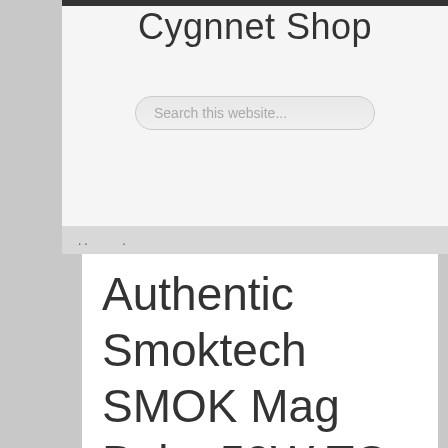Cygnnet Shop
Search this website...
.. .
Authentic Smoktech SMOK Mag Baby 50W TC VW APV Box Mod Kit (Standard Edition)